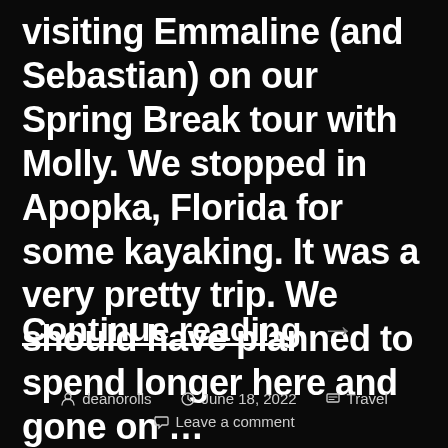visiting Emmaline (and Sebastian) on our Spring Break tour with Molly. We stopped in Apopka, Florida for some kayaking. It was a very pretty trip. We should have planned to spend longer here and gone on …
Continue reading →
deanorolls  June 18, 2022  Travel  Leave a comment